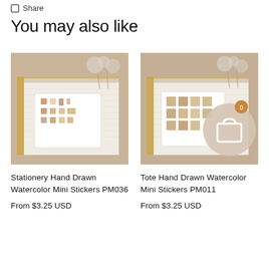Share
You may also like
[Figure (photo): Stationery Hand Drawn Watercolor Mini Stickers PM036 product photo showing a sticker sheet on an open journal/planner with dried flowers in the background]
Stationery Hand Drawn Watercolor Mini Stickers PM036
From $3.25 USD
[Figure (photo): Tote Hand Drawn Watercolor Mini Stickers PM011 product photo showing a sticker sheet on an open journal/planner, with a shopping cart overlay icon and badge showing 0]
Tote Hand Drawn Watercolor Mini Stickers PM011
From $3.25 USD